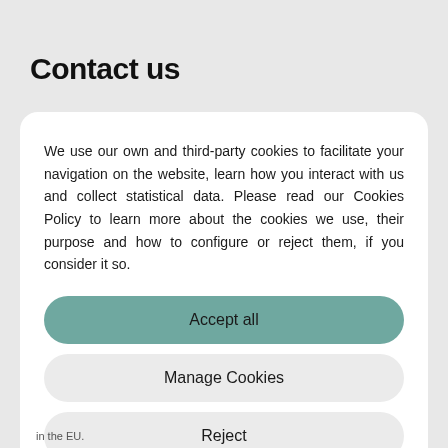Contact us
We use our own and third-party cookies to facilitate your navigation on the website, learn how you interact with us and collect statistical data. Please read our Cookies Policy to learn more about the cookies we use, their purpose and how to configure or reject them, if you consider it so.
Accept all
Manage Cookies
Reject
in the EU.